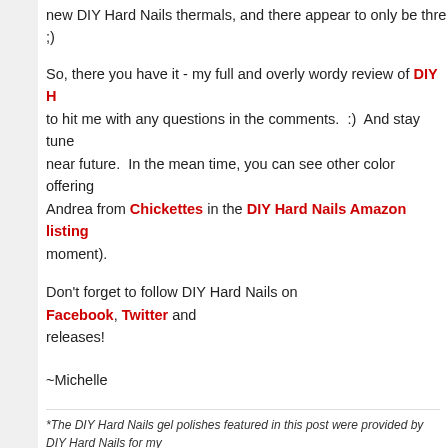new DIY Hard Nails thermals, and there appear to only be thre ;)
So, there you have it - my full and overly wordy review of DIY Hard Nails to hit me with any questions in the comments.  :)  And stay tuned near future.  In the mean time, you can see other color offerings Andrea from Chickettes in the DIY Hard Nails Amazon listing moment).
Don't forget to follow DIY Hard Nails on Facebook, Twitter and releases!
~Michelle
*The DIY Hard Nails gel polishes featured in this post were provided by DIY Hard Nails for my links.  Purchases through these links generate commissions that help fund this site.
4 comments:
Wordl8y  September 10, 2014 at 12:42 PM
I never would have guessed it's pronounced "die" hard! Than